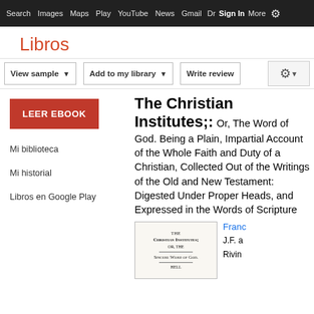Search  Images  Maps  Play  YouTube  News  Gmail  Drive  More  Sign in  ⚙
Libros
View sample  |  Add to my library  |  Write review  |  ⚙
[Figure (screenshot): LEER EBOOK button in red]
Mi biblioteca
Mi historial
Libros en Google Play
The Christian Institutes;: Or, The Word of God. Being a Plain, Impartial Account of the Whole Faith and Duty of a Christian, Collected Out of the Writings of the Old and New Testament: Digested Under Proper Heads, and Expressed in the Words of Scripture
[Figure (photo): Book cover image showing THE CHRISTIAN INSTITUTES; OR, THE SINCERE WORD OF GOD.]
Francis Okely
J.F. and C. Rivington...